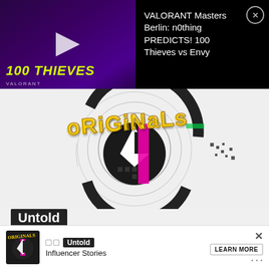[Figure (screenshot): YouTube notification popup for VALORANT Masters Berlin video thumbnail with '100 THIEVES' text in yellow italic on purple/dark background, play button visible]
VALORANT Masters Berlin: n0thing PREDICTS! 100 Thieves vs Envy
[Figure (screenshot): Originals series graphic with circular logo design, 'ORIGINALS' text in yellow graffiti style, black and magenta colors]
Untold
Influencer Stories
[Figure (screenshot): Row of three video thumbnails showing influencer content]
[Figure (screenshot): Bottom advertisement banner for Originals - Untold Influencer Stories with LEARN MORE button]